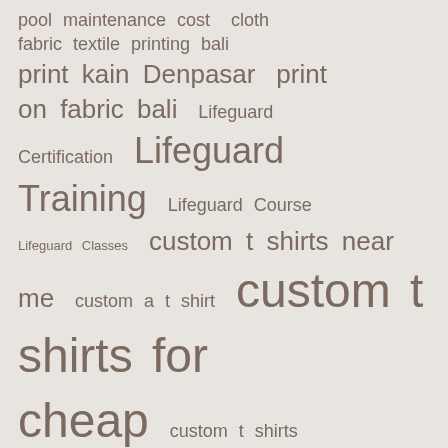[Figure (infographic): Tag cloud / word cloud containing various search terms and keywords of different font sizes, displayed on a light beige/gray background. Terms include: pool maintenance cost, cloth, fabric textile printing bali, print kain Denpasar, print on fabric bali, Lifeguard Certification, Lifeguard Training, Lifeguard Course, Lifeguard Classes, custom t shirts near me, custom a t shirt, custom t shirts for cheap, custom t shirts printing near me, md online boutique, online boutiques, online boutique, free invention help, how to get a US patent on an idea, cool invention ideas, InventHelp inventors, find patent your idea, Ebook Download Books]